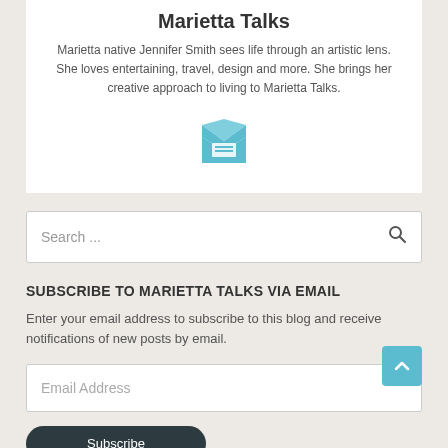Marietta Talks
Marietta native Jennifer Smith sees life through an artistic lens. She loves entertaining, travel, design and more. She brings her creative approach to living to Marietta Talks.
[Figure (illustration): Teal envelope icon with a letter/message inside, open flap visible]
Search ...
SUBSCRIBE TO MARIETTA TALKS VIA EMAIL
Enter your email address to subscribe to this blog and receive notifications of new posts by email.
Email Address
Subscribe